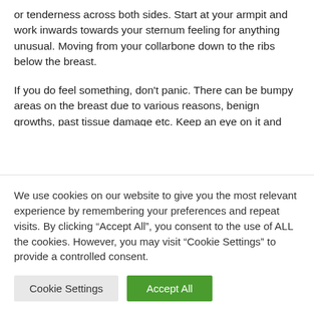or tenderness across both sides. Start at your armpit and work inwards towards your sternum feeling for anything unusual. Moving from your collarbone down to the ribs below the breast.
If you do feel something, don’t panic. There can be bumpy areas on the breast due to various reasons, benign growths, past tissue damage etc. Keep an eye on it and check if anything changes during or after your next menstrual cycle. It is always best to catch the situation early, so if you are unsure, nervous or feel a bit worried by anything you feel during your self check, go to your [clipped]
We use cookies on our website to give you the most relevant experience by remembering your preferences and repeat visits. By clicking “Accept All”, you consent to the use of ALL the cookies. However, you may visit “Cookie Settings” to provide a controlled consent.
Cookie Settings
Accept All